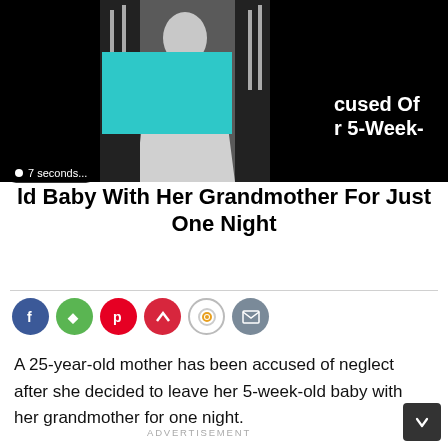[Figure (photo): Black and white photo of a woman in a dress, with a teal redaction box over her face/upper body. Black background. Timer badge reading '7 seconds...' in bottom-left overlay.]
...cused Of ...r 5-Week- ...ld Baby With Her Grandmother For Just One Night
[Figure (infographic): Row of social sharing icons: Facebook (blue), Flipboard (green), Pinterest (red), Newsbreak (red), Focus/lens (white/gold), Email (grey)]
A 25-year-old mother has been accused of neglect after she decided to leave her 5-week-old baby with her grandmother for one night.
ADVERTISEMENT